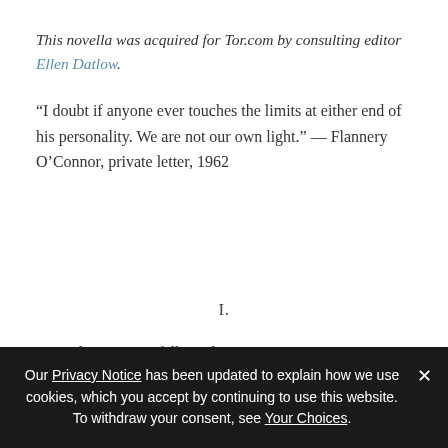This novella was acquired for Tor.com by consulting editor Ellen Datlow.
“I doubt if anyone ever touches the limits at either end of his personality. We are not our own light.” — Flannery O’Connor, private letter, 1962
I.
“It’s a long way to fall, Zack.”
Our Privacy Notice has been updated to explain how we use cookies, which you accept by continuing to use this website. To withdraw your consent, see Your Choices.